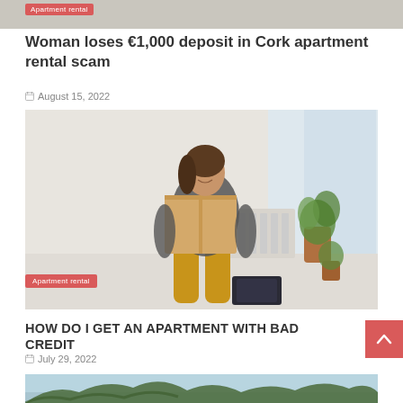[Figure (photo): Top of a photo showing an apartment/room scene, partially cropped, with 'Apartment rental' badge overlaid]
Woman loses €1,000 deposit in Cork apartment rental scam
August 15, 2022
[Figure (photo): Woman smiling and carrying a cardboard box in a bright apartment with plants, wearing yellow pants, with 'Apartment rental' label badge]
HOW DO I GET AN APARTMENT WITH BAD CREDIT
July 29, 2022
[Figure (photo): Partial view of tree branches and sky, bottom of page, cropped]